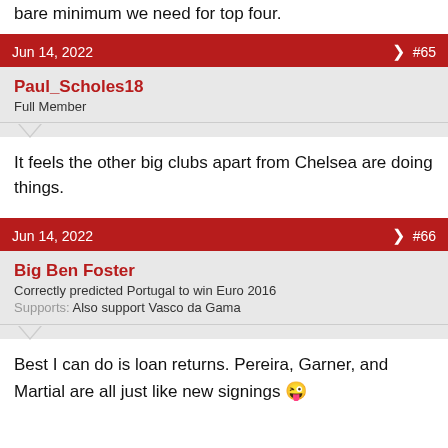bare minimum we need for top four.
Jun 14, 2022  #65
Paul_Scholes18
Full Member
It feels the other big clubs apart from Chelsea are doing things.
Jun 14, 2022  #66
Big Ben Foster
Correctly predicted Portugal to win Euro 2016
Supports: Also support Vasco da Gama
Best I can do is loan returns. Pereira, Garner, and Martial are all just like new signings 😜